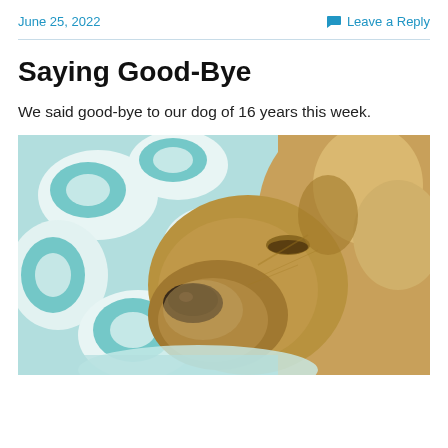June 25, 2022
Leave a Reply
Saying Good-Bye
We said good-bye to our dog of 16 years this week.
[Figure (photo): A close-up photo of an aging golden/yellow dog resting its head on a teal and white patterned blanket, eyes closed, nose visible in the foreground.]